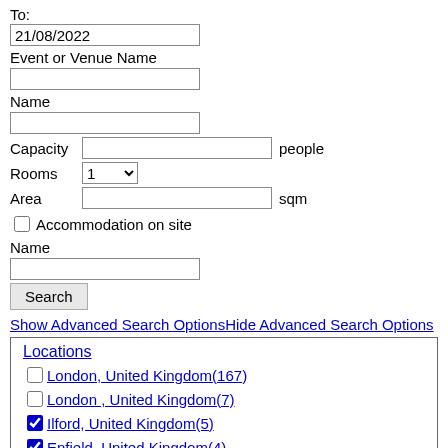To:
21/08/2022
Event or Venue Name
Name
Capacity   people
Rooms   1
Area   sqm
Accommodation on site
Name
Search
Show Advanced Search OptionsHide Advanced Search Options
Locations
London, United Kingdom(167)
London , United Kingdom(7)
Ilford, United Kingdom(5)
Enfield, United Kingdom(4)
Croydon, United Kingdom(3)
tower hamlets , United Kingdom(2)
Hounslow, United Kingdom(2)